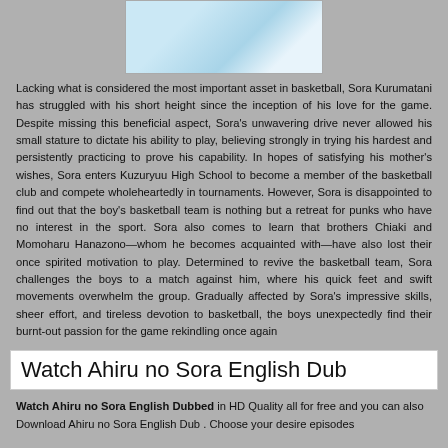[Figure (illustration): Anime illustration of basketball players from Ahiru no Sora]
Lacking what is considered the most important asset in basketball, Sora Kurumatani has struggled with his short height since the inception of his love for the game. Despite missing this beneficial aspect, Sora's unwavering drive never allowed his small stature to dictate his ability to play, believing strongly in trying his hardest and persistently practicing to prove his capability. In hopes of satisfying his mother's wishes, Sora enters Kuzuryuu High School to become a member of the basketball club and compete wholeheartedly in tournaments. However, Sora is disappointed to find out that the boy's basketball team is nothing but a retreat for punks who have no interest in the sport. Sora also comes to learn that brothers Chiaki and Momoharu Hanazono—whom he becomes acquainted with—have also lost their once spirited motivation to play. Determined to revive the basketball team, Sora challenges the boys to a match against him, where his quick feet and swift movements overwhelm the group. Gradually affected by Sora's impressive skills, sheer effort, and tireless devotion to basketball, the boys unexpectedly find their burnt-out passion for the game rekindling once again
Watch Ahiru no Sora English Dub
Watch Ahiru no Sora English Dubbed in HD Quality all for free and you can also Download Ahiru no Sora English Dub . Choose your desire episodes